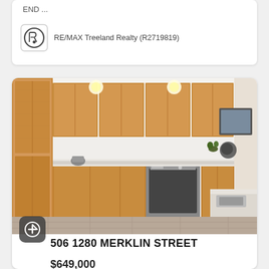END ...
RE/MAX Treeland Realty (R2719819)
[Figure (photo): Interior kitchen photo showing modern wood cabinets, marble countertops, stainless steel oven, and hardwood floors]
506 1280 MERKLIN STREET
$649,000